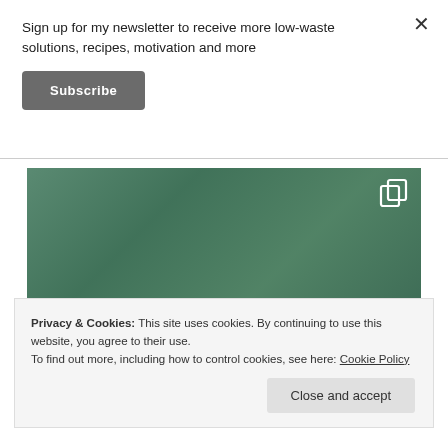Sign up for my newsletter to receive more low-waste solutions, recipes, motivation and more
Subscribe
[Figure (photo): Green/teal fabric or bedding with crumpled texture, with text overlay reading 'IS BUYING' in white uppercase letters and a copy/duplicate icon in the top right corner]
Privacy & Cookies: This site uses cookies. By continuing to use this website, you agree to their use.
To find out more, including how to control cookies, see here: Cookie Policy
Close and accept